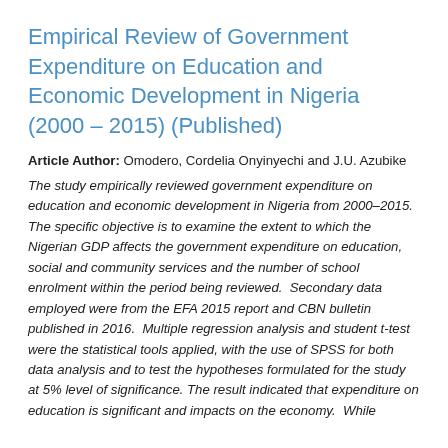Empirical Review of Government Expenditure on Education and Economic Development in Nigeria (2000 – 2015) (Published)
Article Author: Omodero, Cordelia Onyinyechi and J.U. Azubike
The study empirically reviewed government expenditure on education and economic development in Nigeria from 2000–2015. The specific objective is to examine the extent to which the Nigerian GDP affects the government expenditure on education, social and community services and the number of school enrolment within the period being reviewed. Secondary data employed were from the EFA 2015 report and CBN bulletin published in 2016. Multiple regression analysis and student t-test were the statistical tools applied, with the use of SPSS for both data analysis and to test the hypotheses formulated for the study at 5% level of significance. The result indicated that expenditure on education is significant and impacts on the economy. While